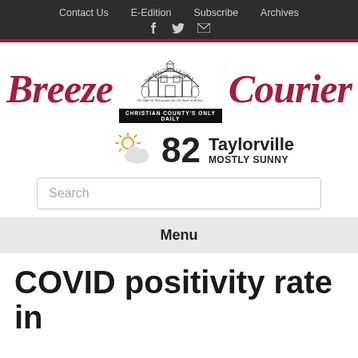Contact Us | E-Edition | Subscribe | Archives
[Figure (logo): Breeze Courier newspaper masthead with Taylorville Daily emblem in center, text: The Official Newspaper for the State of Illinois, CHRISTIAN COUNTY'S ONLY DAILY]
82 Taylorville MOSTLY SUNNY
Search
Menu
COVID positivity rate in